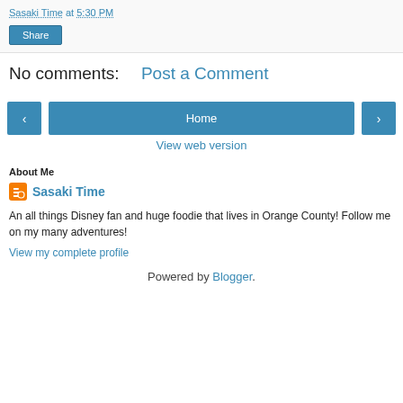Sasaki Time at 5:30 PM
Share
No comments:
Post a Comment
[Figure (other): Navigation buttons: left arrow, Home button, right arrow]
View web version
About Me
Sasaki Time
An all things Disney fan and huge foodie that lives in Orange County! Follow me on my many adventures!
View my complete profile
Powered by Blogger.